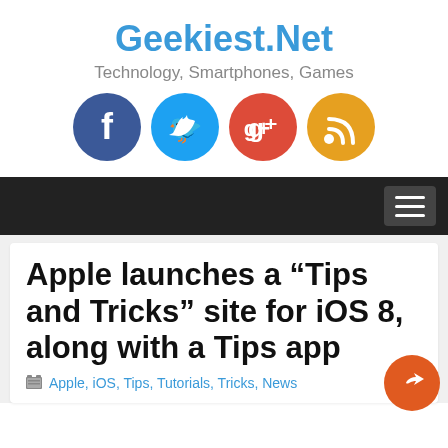Geekiest.Net
Technology, Smartphones, Games
[Figure (infographic): Four social media icons in circles: Facebook (blue), Twitter (light blue), Google+ (red), RSS (orange)]
[Figure (screenshot): Black navigation bar with hamburger menu button on the right]
Apple launches a “Tips and Tricks” site for iOS 8, along with a Tips app
Apple, iOS, Tips, Tutorials, Tricks, News